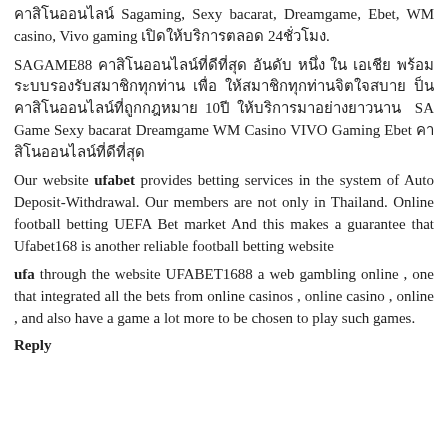คาสิโนออนไลน์ Sagaming, Sexy bacarat, Dreamgame, Ebet, WM casino, Vivo gaming เปิดให้บริการตลอด 24ชั่วโมง.
SAGAME88 คาสิโนออนไลน์ที่ดีที่สุด อันดับ หนึ่ง ใน เอเชีย พร้อม ระบบรองรับสมาชิกทุกท่าน เพื่อ ให้สมาชิกทุกท่านจิตใจสบาย ป็นคาสิโนออนไลน์ที่ถูกกฎหมาย 10ปี ให้บริการมาอย่างยาวนาน SA Game Sexy bacarat Dreamgame WM Casino VIVO Gaming Ebet คาสิโนออนไลน์ที่ดีที่สุด
Our website ufabet provides betting services in the system of Auto Deposit-Withdrawal. Our members are not only in Thailand. Online football betting UEFA Bet market And this makes a guarantee that Ufabet168 is another reliable football betting website
ufa through the website UFABET1688 a web gambling online , one that integrated all the bets from online casinos , online casino , online , and also have a game a lot more to be chosen to play such games.
Reply